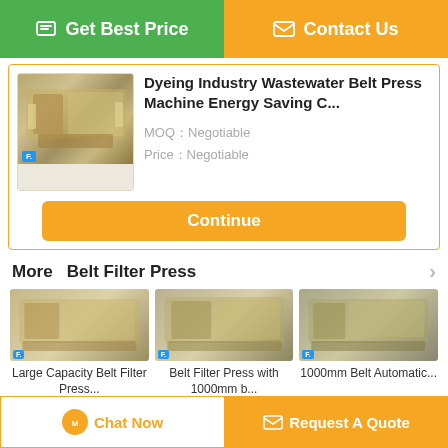[Figure (screenshot): Green button: Get Best Price with chat icon]
[Figure (screenshot): Orange button: Contact Us with envelope icon]
[Figure (photo): Product image of Dyeing Industry Wastewater Belt Press Machine]
Dyeing Industry Wastewater Belt Press Machine Energy Saving C...
MOQ：Negotiable
Price：Negotiable
[Figure (screenshot): Orange Continue button]
More  Belt Filter Press
[Figure (photo): Large Capacity Belt Filter Press...]
Large Capacity Belt Filter Press...
[Figure (photo): Belt Filter Press with 1000mm b...]
Belt Filter Press with 1000mm b...
[Figure (photo): 1000mm Belt Automatic...]
1000mm Belt Automatic...
Change Language
[Figure (screenshot): Chat Now button]
[Figure (screenshot): Request A Quote button]